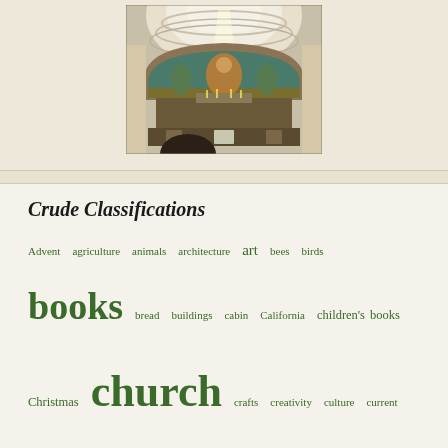[Figure (photo): Interior of a church with a domed ceiling and ornate apse mosaic featuring religious figures, with light streaming through the dome]
Crude Classifications
Advent agriculture animals architecture art bees birds books bread buildings cabin California children's books Christmas church crafts creativity culture current events death dolls education family feasts food and cooking friends garden grandchildren grief